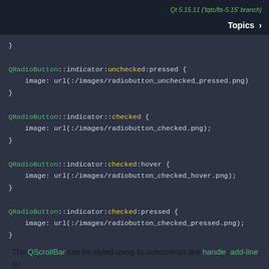Qt 5.15.11 ('tqtc/lts-5.15' branch)  Topics >
[Figure (screenshot): Dark-themed code block showing Qt stylesheet CSS rules for QRadioButton indicator states: unchecked:pressed, checked, checked:hover, checked:pressed, each with image url properties.]
Customizing QScrollBar
The QScrollBar can be styled using its subcontrols like handle, add-line, su... controls must be customized as well.